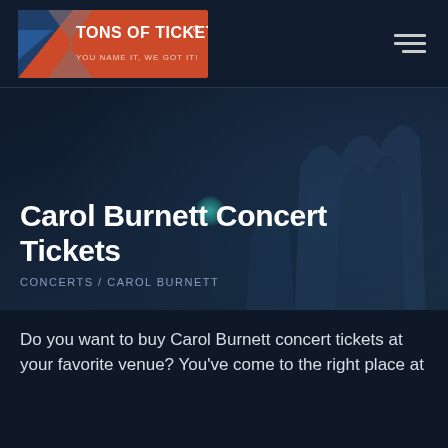TONS OF TICKETS® — YOU NAME IT, WE GOT IT!
Carol Burnett Concert Tickets
CONCERTS /  CAROL BURNETT
Do you want to buy Carol Burnett concert tickets at your favorite venue? You've come to the right place at